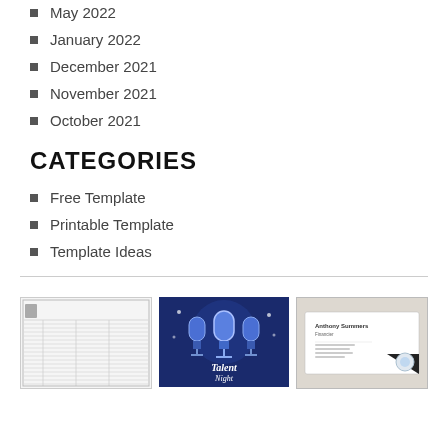May 2022
January 2022
December 2021
November 2021
October 2021
CATEGORIES
Free Template
Printable Template
Template Ideas
[Figure (screenshot): Three thumbnail images side by side: a spreadsheet/lined document template, a Talent Night event poster with microphones on dark blue background, and a business card design for Anthony Summers.]